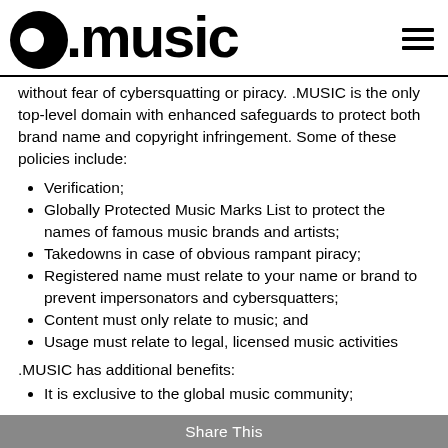.music (logo) with hamburger menu
without fear of cybersquatting or piracy. .MUSIC is the only top-level domain with enhanced safeguards to protect both brand name and copyright infringement. Some of these policies include:
Verification;
Globally Protected Music Marks List to protect the names of famous music brands and artists;
Takedowns in case of obvious rampant piracy;
Registered name must relate to your name or brand to prevent impersonators and cybersquatters;
Content must only relate to music; and
Usage must relate to legal, licensed music activities
.MUSIC has additional benefits:
It is exclusive to the global music community;
Share This